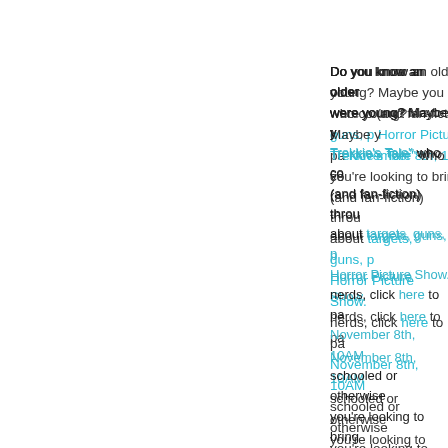Do you know an older nerd from when you were young? Maybe you know a "A Trekkie's Tale" who could talk for hours (and fan-fiction) through their passions about targets, guns, ping-pong and the Rocky Horror Picture Show. For all you aging nerds, click here to participate on November 8th, 10AM. If you're just schooled or otherwise recovering and you're looking to bring lunch along, check out our lunch a…
[Figure (photo): Close-up photo of an older man with white/gray hair, black-rimmed glasses, and a gray mustache, wearing a blue denim shirt. The photo is cropped and shows mainly his face and upper chest.]